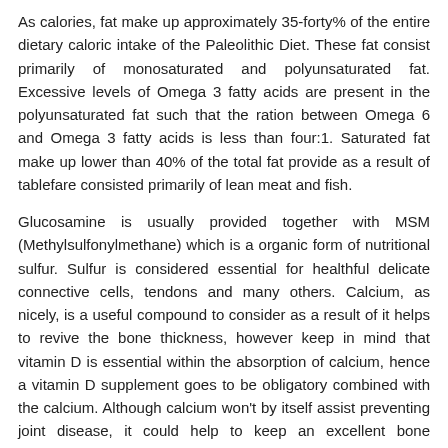As calories, fat make up approximately 35-forty% of the entire dietary caloric intake of the Paleolithic Diet. These fat consist primarily of monosaturated and polyunsaturated fat. Excessive levels of Omega 3 fatty acids are present in the polyunsaturated fat such that the ration between Omega 6 and Omega 3 fatty acids is less than four:1. Saturated fat make up lower than 40% of the total fat provide as a result of tablefare consisted primarily of lean meat and fish.
Glucosamine is usually provided together with MSM (Methylsulfonylmethane) which is a organic form of nutritional sulfur. Sulfur is considered essential for healthful delicate connective cells, tendons and many others. Calcium, as nicely, is a useful compound to consider as a result of it helps to revive the bone thickness, however keep in mind that vitamin D is essential within the absorption of calcium, hence a vitamin D supplement goes to be obligatory combined with the calcium. Although calcium won't by itself assist preventing joint disease, it could help to keep an excellent bone thickness which is much more able to withstanding the tensions of a lowered cartilage thickness.
Staples so as to add flavour and zest to your meal.